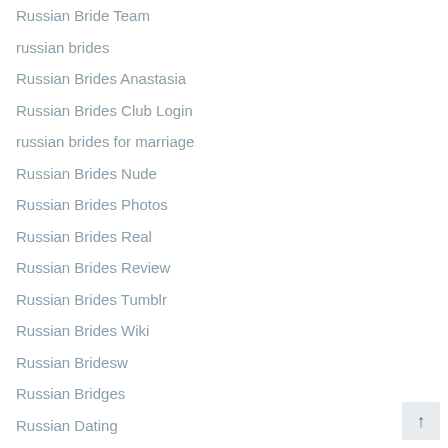Russian Bride Team
russian brides
Russian Brides Anastasia
Russian Brides Club Login
russian brides for marriage
Russian Brides Nude
Russian Brides Photos
Russian Brides Real
Russian Brides Review
Russian Brides Tumblr
Russian Brides Wiki
Russian Bridesw
Russian Bridges
Russian Dating